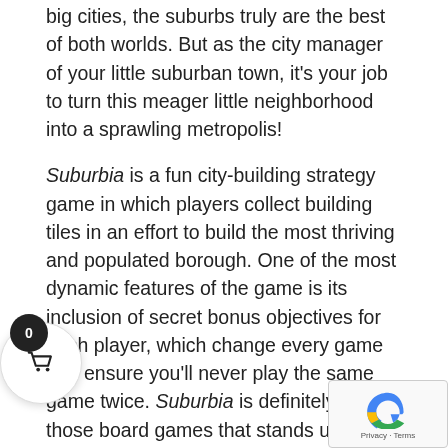big cities, the suburbs truly are the best of both worlds. But as the city manager of your little suburban town, it's your job to turn this meager little neighborhood into a sprawling metropolis!
Suburbia is a fun city-building strategy game in which players collect building tiles in an effort to build the most thriving and populated borough. One of the most dynamic features of the game is its inclusion of secret bonus objectives for each player, which change every game and ensure you'll never play the same game twice. Suburbia is definitely one of those board games that stands up to repeat playing as you'll never get bored of its many twists a...